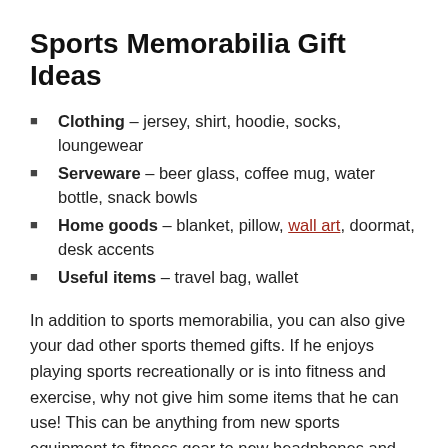Sports Memorabilia Gift Ideas
Clothing – jersey, shirt, hoodie, socks, loungewear
Serveware – beer glass, coffee mug, water bottle, snack bowls
Home goods – blanket, pillow, wall art, doormat, desk accents
Useful items – travel bag, wallet
In addition to sports memorabilia, you can also give your dad other sports themed gifts. If he enjoys playing sports recreationally or is into fitness and exercise, why not give him some items that he can use! This can be anything from new sports equipment to fitness gear to new headphones and more. A sports themed gift that featured items he can use for his hobbies is always a great idea. Practical and useful gifts are a great go-to